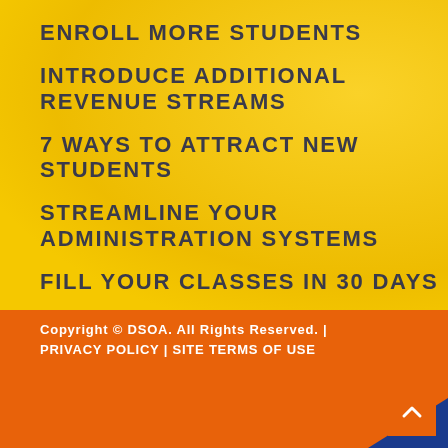ENROLL MORE STUDENTS
INTRODUCE ADDITIONAL REVENUE STREAMS
7 WAYS TO ATTRACT NEW STUDENTS
STREAMLINE YOUR ADMINISTRATION SYSTEMS
FILL YOUR CLASSES IN 30 DAYS
Copyright © DSOA. All Rights Reserved. | PRIVACY POLICY | SITE TERMS OF USE